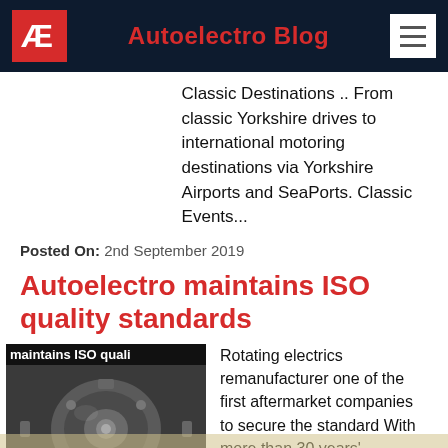Autoelectro Blog
Classic Destinations .. From classic Yorkshire drives to international motoring destinations via Yorkshire Airports and SeaPorts. Classic Events...
Posted On: 2nd September 2019
Autoelectro maintains ISO quality standards
[Figure (photo): Photo of a rotating electrics component (alternator/starter motor) with text overlay 'maintains ISO quali']
Rotating electrics remanufacturer one of the first aftermarket companies to secure the standard With more than 30 years' experience and knowledge, Autoelectro is thought to be the largest independent rotating electrics remanufacturer and